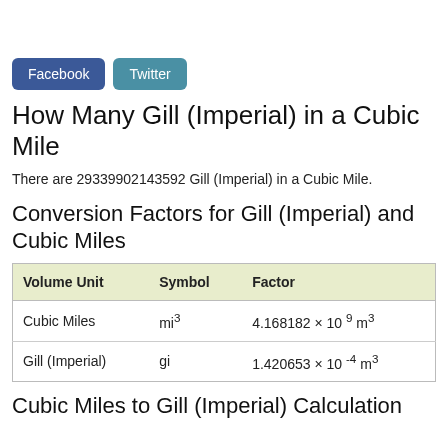Facebook   Twitter
How Many Gill (Imperial) in a Cubic Mile
There are 29339902143592 Gill (Imperial) in a Cubic Mile.
Conversion Factors for Gill (Imperial) and Cubic Miles
| Volume Unit | Symbol | Factor |
| --- | --- | --- |
| Cubic Miles | mi³ | 4.168182 × 10⁹ m³ |
| Gill (Imperial) | gi | 1.420653 × 10⁻⁴ m³ |
Cubic Miles to Gill (Imperial) Calculation